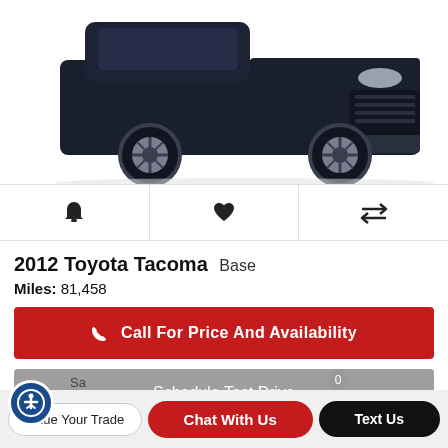[Figure (photo): Front view of a dark navy/black 2012 Toyota Tacoma pickup truck on white background, showing front grille, bumper, headlights, and front wheels]
[Figure (infographic): Icon bar with three icons: bell (alert), heart (favorite), and compare arrows (compare)]
2012 Toyota Tacoma Base
Miles: 81,458
Call For Price And Availability
Schedule Test Drive
Value Your Trade
Chat With Us
Text Us